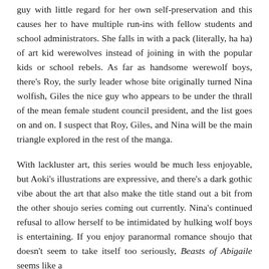guy with little regard for her own self-preservation and this causes her to have multiple run-ins with fellow students and school administrators. She falls in with a pack (literally, ha ha) of art kid werewolves instead of joining in with the popular kids or school rebels. As far as handsome werewolf boys, there's Roy, the surly leader whose bite originally turned Nina wolfish, Giles the nice guy who appears to be under the thrall of the mean female student council president, and the list goes on and on. I suspect that Roy, Giles, and Nina will be the main triangle explored in the rest of the manga.
With lackluster art, this series would be much less enjoyable, but Aoki's illustrations are expressive, and there's a dark gothic vibe about the art that also make the title stand out a bit from the other shoujo series coming out currently. Nina's continued refusal to allow herself to be intimidated by hulking wolf boys is entertaining. If you enjoy paranormal romance shoujo that doesn't seem to take itself too seriously, Beasts of Abigaile seems like a